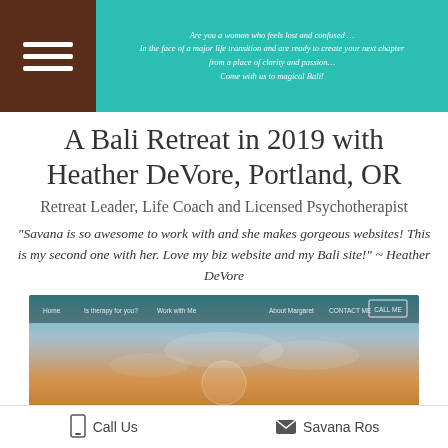Are you a woman who feels lost and confused ... In the face of a major life transition and are ready to create your next chapter from a place of clarity and passion... Come with us to magical Bali!
A Bali Retreat in 2019 with Heather DeVore, Portland, OR
Retreat Leader, Life Coach and Licensed Psychotherapist
"Savana is so awesome to work with and she makes gorgeous websites! This is my second one with her. Love my biz website and my Bali site!" ~ Heather DeVore
[Figure (screenshot): Screenshot of a website with navigation bar and a scenic landscape background with text starting with 'M...t H...d MFT']
Call Us   Savana Ros